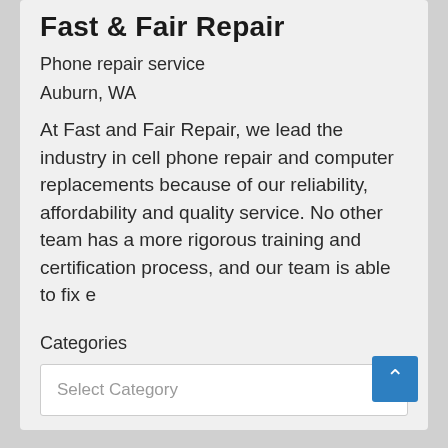Fast & Fair Repair
Phone repair service
Auburn, WA
At Fast and Fair Repair, we lead the industry in cell phone repair and computer replacements because of our reliability, affordability and quality service. No other team has a more rigorous training and certification process, and our team is able to fix e
Categories
Select Category